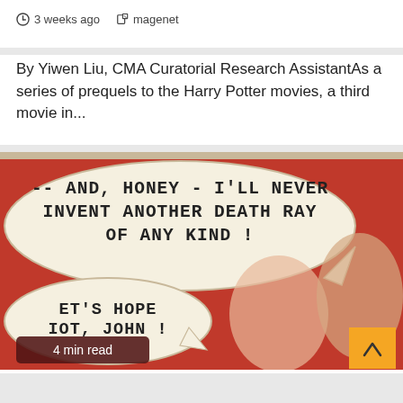3 weeks ago   magenet
By Yiwen Liu, CMA Curatorial Research AssistantAs a series of prequels to the Harry Potter movies, a third movie in...
[Figure (illustration): Comic strip panel with speech bubbles. Top bubble reads: '-- AND, HONEY - I'LL NEVER INVENT ANOTHER DEATH RAY OF ANY KIND!' Bottom bubble reads: 'ET'S HOPE IOT, JOHN!' A woman and man are shown against a red background. A dark red badge reads '4 min read' and a yellow button with a caret/up arrow appears at bottom right.]